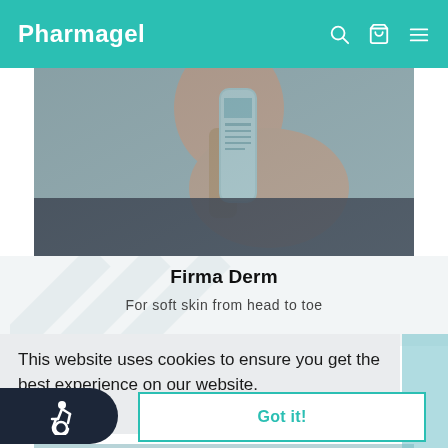Pharmagel
[Figure (photo): Woman holding a Pharmagel skincare tube product against her neck/shoulder, gray background]
Firma Derm
For soft skin from head to toe
This website uses cookies to ensure you get the best experience on our website.
Learn More
Got it!